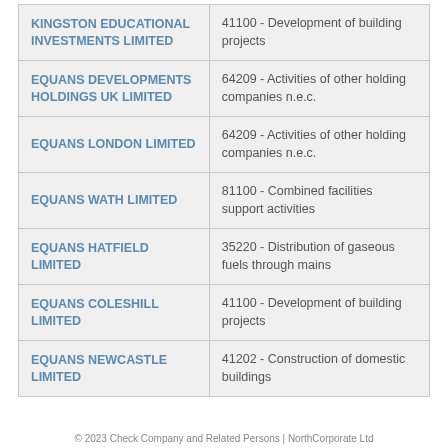| Company Name | SIC Code - Description |
| --- | --- |
| KINGSTON EDUCATIONAL INVESTMENTS LIMITED | 41100 - Development of building projects |
| EQUANS DEVELOPMENTS HOLDINGS UK LIMITED | 64209 - Activities of other holding companies n.e.c. |
| EQUANS LONDON LIMITED | 64209 - Activities of other holding companies n.e.c. |
| EQUANS WATH LIMITED | 81100 - Combined facilities support activities |
| EQUANS HATFIELD LIMITED | 35220 - Distribution of gaseous fuels through mains |
| EQUANS COLESHILL LIMITED | 41100 - Development of building projects |
| EQUANS NEWCASTLE LIMITED | 41202 - Construction of domestic buildings |
© 2023 Check Company and Related Persons | NorthCorporate Ltd